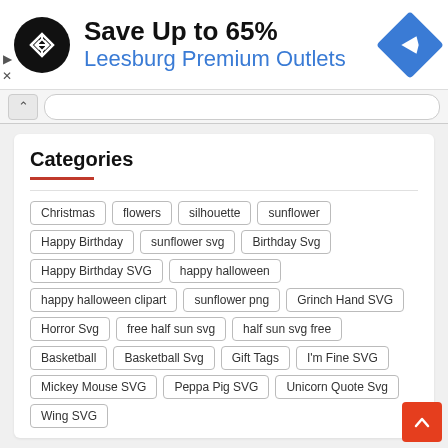[Figure (screenshot): Advertisement banner: Save Up to 65% Leesburg Premium Outlets with logo and navigation icon]
[Figure (screenshot): Browser navigation bar with back button and URL input field]
Categories
Christmas
flowers
silhouette
sunflower
Happy Birthday
sunflower svg
Birthday Svg
Happy Birthday SVG
happy halloween
happy halloween clipart
sunflower png
Grinch Hand SVG
Horror Svg
free half sun svg
half sun svg free
Basketball
Basketball Svg
Gift Tags
I'm Fine SVG
Mickey Mouse SVG
Peppa Pig SVG
Unicorn Quote Svg
Wing SVG